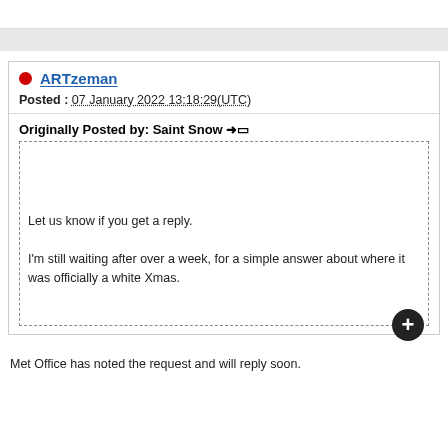ARTzeman
Posted : 07 January 2022 13:18:29(UTC)
Originally Posted by: Saint Snow ➡︎☐
Let us know if you get a reply.

I'm still waiting after over a week, for a simple answer about where it was officially a white Xmas.
Met Office has noted the request and will reply soon.